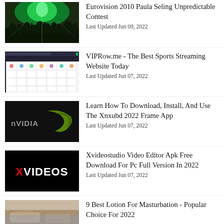[Figure (photo): Concert crowd with green lights silhouette]
Eurovision 2010 Paula Seling Unpredictable Contest
Last Updated Jun 09, 2022
[Figure (screenshot): VIPRow Sports streaming website screenshot with sports icons grid]
VIPRow.me - The Best Sports Streaming Website Today
Last Updated Jun 07, 2022
[Figure (photo): nVIDIA logo on dark background with green swoosh]
Learn How To Download, Install, And Use The Xnxubd 2022 Frame App
Last Updated Jun 07, 2022
[Figure (logo): XVIDEOS logo - white text with red X on black background]
Xvideostudio Video Editor Apk Free Download For Pc Full Version In 2022
Last Updated Jun 07, 2022
[Figure (photo): Hands on bed/fabric close-up]
9 Best Lotion For Masturbation - Popular Choice For 2022